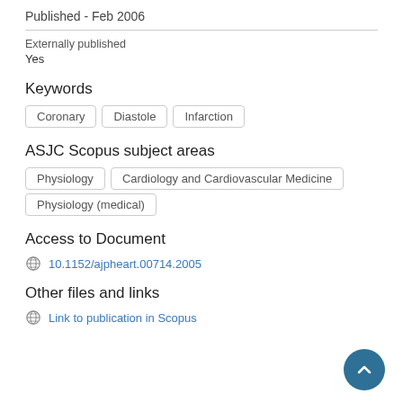Published - Feb 2006
Externally published
Yes
Keywords
Coronary
Diastole
Infarction
ASJC Scopus subject areas
Physiology
Cardiology and Cardiovascular Medicine
Physiology (medical)
Access to Document
10.1152/ajpheart.00714.2005
Other files and links
Link to publication in Scopus